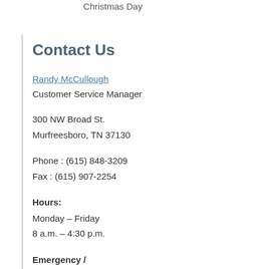Christmas Day
Contact Us
Randy McCullough
Customer Service Manager
300 NW Broad St.
Murfreesboro, TN 37130
Phone: (615) 848-3209
Fax: (615) 907-2254
Hours:
Monday – Friday
8 a.m. – 4:30 p.m.
Emergency /
After Hours Assistance